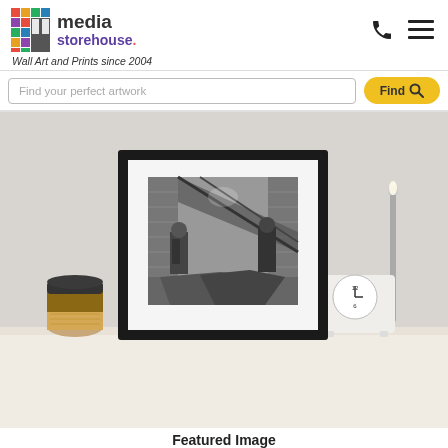media storehouse. Wall Art and Prints since 2004
Find your perfect artwork
Find
[Figure (photo): A room scene showing a framed black and white photograph of bomb-damaged library interior with figures, mounted on a grey wall above a shelf with coffee cup, books, clock and candle stick.]
Featured Image